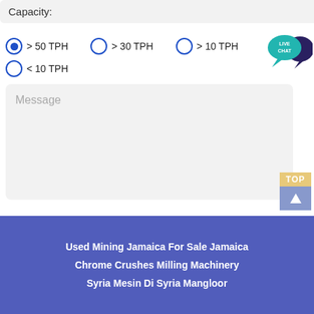Capacity:
> 50 TPH (selected)
> 30 TPH
> 10 TPH
< 10 TPH
Message
SUBMIT
[Figure (other): LIVE CHAT speech bubble icon]
TOP
Used Mining Jamaica For Sale Jamaica
Chrome Crushes Milling Machinery
Syria Mesin Di Syria Mangloor